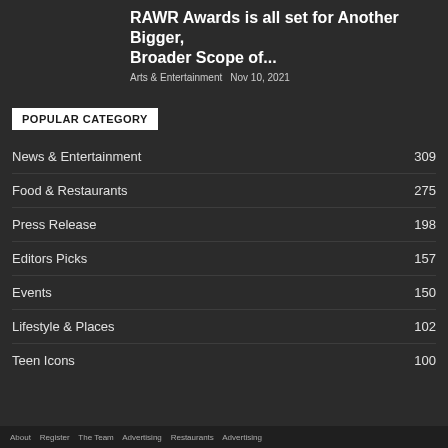RAWR Awards is all set for Another Bigger, Broader Scope of...
Arts & Entertainment  Nov 10, 2021
POPULAR CATEGORY
News & Entertainment 309
Food & Restaurants 275
Press Release 198
Editors Picks 157
Events 150
Lifestyle & Places 102
Teen Icons 100
About   Register   The Team   Advertising   Restaurants   Advertising